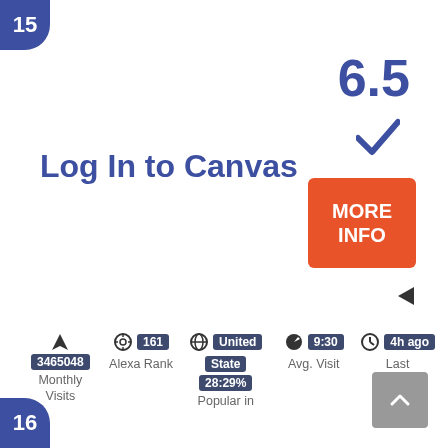15
6.5
[Figure (infographic): Blue checkmark icon]
[Figure (infographic): Orange MORE INFO button]
[Figure (infographic): Left-pointing arrow]
Log In to Canvas
3465048 Monthly Visits | Alexa Rank 161 | United State 28:29% Popular in | Avg. Visit 9:30 | Last Checked 4h ago
16